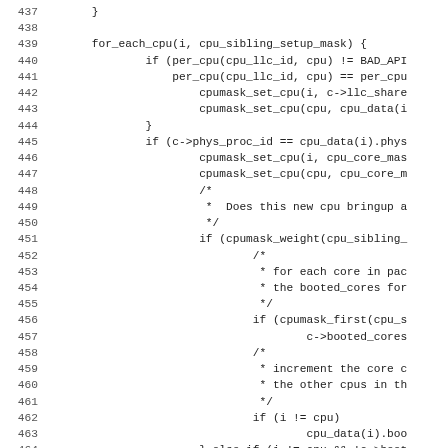[Figure (other): Source code listing (C/kernel code) showing lines 437–468 with line numbers on the left and code on the right, including for_each_cpu loop, CPU sibling mask setup, llc_id checks, phys_proc_id checks, booted_cores logic, and closing braces.]